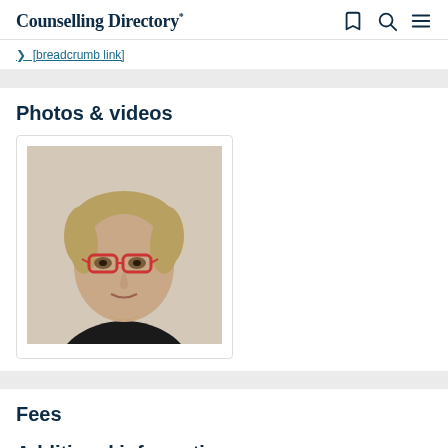Counselling Directory*
breadcrumb link (partially visible)
Photos & videos
[Figure (photo): Portrait photo of a woman with short blonde hair wearing red glasses and a black top, photographed against a cream/off-white background.]
Fees
Additional information